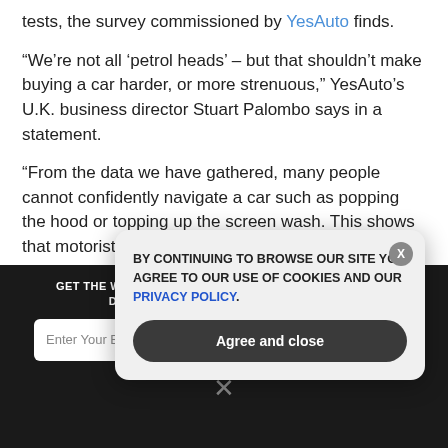tests, the survey commissioned by YesAuto finds.
“We’re not all ‘petrol heads’ – but that shouldn’t make buying a car harder, or more strenuous,” YesAuto’s U.K. business director Stuart Palombo says in a statement.
“From the data we have gathered, many people cannot confidently navigate a car such as popping the hood or topping up the screen wash. This shows that motorists skills are lacking which makes the car buying process harder as
GET THE WORLD’S BEST NATURAL HEALTH NEWSLETTER DELIVERED STRAIGHT TO YOUR INBOX.
BY CONTINUING TO BROWSE OUR SITE YOU AGREE TO OUR USE OF COOKIES AND OUR PRIVACY POLICY.
Agree and close